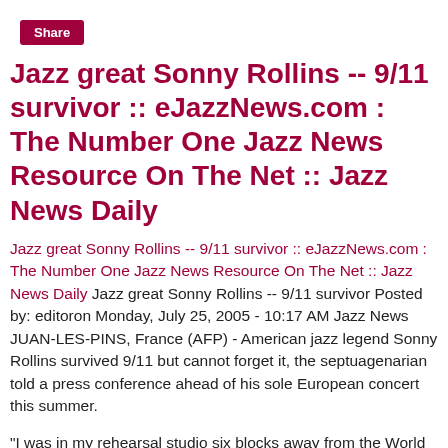Share
Jazz great Sonny Rollins -- 9/11 survivor :: eJazzNews.com : The Number One Jazz News Resource On The Net :: Jazz News Daily
Jazz great Sonny Rollins -- 9/11 survivor :: eJazzNews.com : The Number One Jazz News Resource On The Net :: Jazz News Daily Jazz great Sonny Rollins -- 9/11 survivor Posted by: editoron Monday, July 25, 2005 - 10:17 AM Jazz News JUAN-LES-PINS, France (AFP) - American jazz legend Sonny Rollins survived 9/11 but cannot forget it, the septuagenarian told a press conference ahead of his sole European concert this summer.
"I was in my rehearsal studio six blocks away from the World Trade Center when the explosions occurred," said Rollins, who turns 75 in September and dedicated his latest album to the day in 2001 that changed the world.